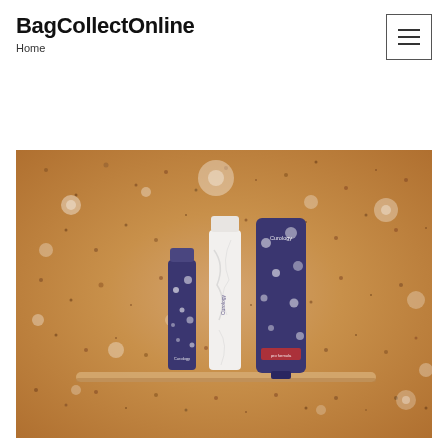BagCollectOnline
Home
[Figure (photo): Three Curology skincare product bottles and tubes displayed on a stone/granite shelf against a sandy granite sparkly background. Left: small dark blue Curology bottle, center: white marble-patterned Curology tube, right: large dark blue Curology squeeze tube. Bokeh sparkle light effects visible throughout.]